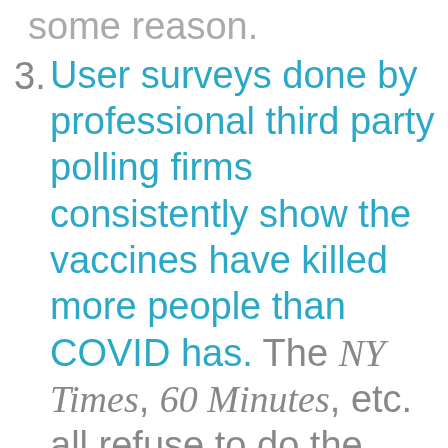some reason.
3. User surveys done by professional third party polling firms consistently show the vaccines have killed more people than COVID has. The NY Times, 60 Minutes, etc. all refuse to do the